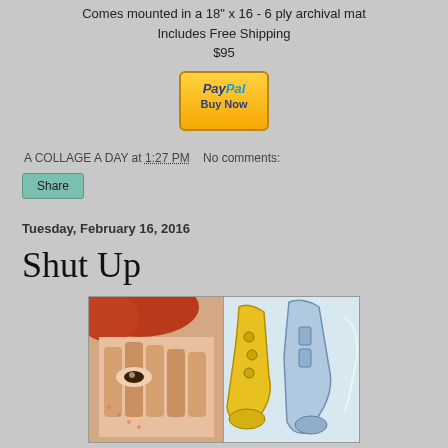Comes mounted in a 18" x 16 - 6 ply archival mat
Includes Free Shipping
$95
[Figure (other): PayPal Buy Now button - orange/yellow gradient button with PayPal logo and 'Buy Now' text]
A COLLAGE A DAY at 1:27 PM   No comments:
Share
Tuesday, February 16, 2016
Shut Up
[Figure (photo): Collage artwork showing comic book style face with hands covering it on the left, and musical instruments (saxophone/trumpet) in yellow and blue tones on the right]